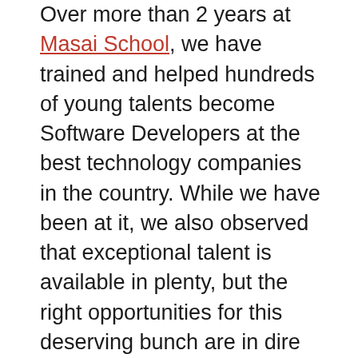Over more than 2 years at Masai School, we have trained and helped hundreds of young talents become Software Developers at the best technology companies in the country. While we have been at it, we also observed that exceptional talent is available in plenty, but the right opportunities for this deserving bunch are in dire shortage.
And we believe we should be able to offer a platform for these young aspirants to come and test their skills and find high-paying jobs in Software Development.
To complement the same belief, all of us at Masai School are now proud to announce the